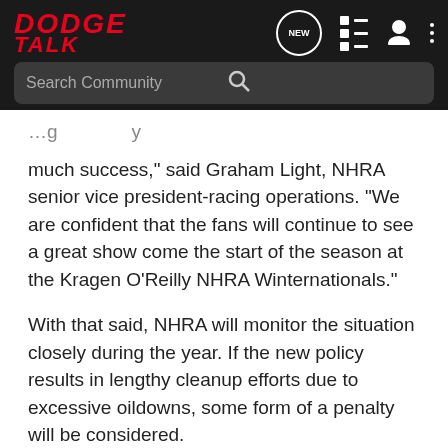DODGE TALK
much success," said Graham Light, NHRA senior vice president-racing operations. "We are confident that the fans will continue to see a great show come the start of the season at the Kragen O'Reilly NHRA Winternationals."
With that said, NHRA will monitor the situation closely during the year. If the new policy results in lengthy cleanup efforts due to excessive oildowns, some form of a penalty will be considered.
In 2008, NHRA removed the monetary fines associated with oildowns at national events midway through the year but kept the points penalties in place for the Professional categories. This year, monetary and points penalties have been eliminated in the Professional and Sportsman ranks.